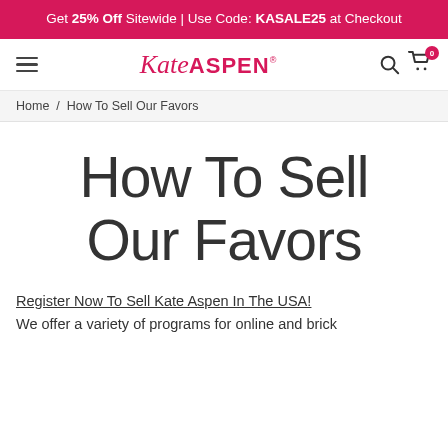Get 25% Off Sitewide | Use Code: KASALE25 at Checkout
[Figure (logo): Kate Aspen logo with hamburger menu, search icon, and cart icon with badge 0]
Home / How To Sell Our Favors
How To Sell Our Favors
Register Now To Sell Kate Aspen In The USA!
We offer a variety of programs for online and brick